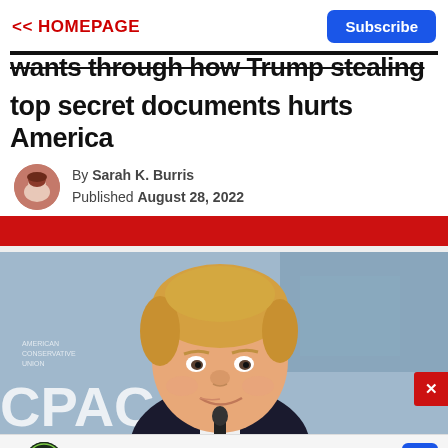<< HOMEPAGE | Subscribe
wants through how Trump stealing top secret documents hurts America
By Sarah K. Burris
Published August 28, 2022
[Figure (photo): Photo of Donald Trump smiling at a microphone in front of a red and white banner with CPAC text visible]
Ashburn  OPEN  7:30AM–6PM
43781 Parkhurst Plaza, Ashb...